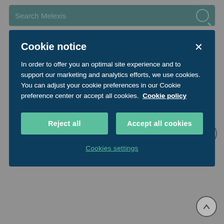[Figure (screenshot): Search bar with 'Search Melexis' placeholder text and magnifying glass icon on dark teal background]
international environment
the opportunity to take ownership of your professional passion in order to contribute to the success of the company
an enjoyable, team-oriented and professional atmosphere in a flat-structured organization
Cookie notice
In order to offer you an optimal site experience and to support our marketing and analytics efforts, we use cookies. You can adjust your cookie preferences in our Cookie preference center or accept all cookies.  Cookie policy
Reject all
Accept all cookies
Cookies settings